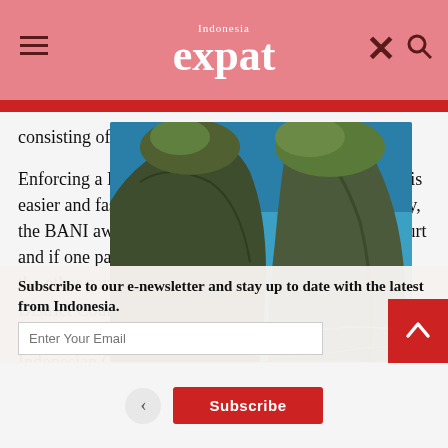Indonesia expat
consisting of both Indonesian and foreign nationals.
[Figure (photo): Aerial view of dramatic rocky coastal formations with turquoise ocean water, green vegetation on top, and a sandy beach below — likely Nusa Penida, Bali, Indonesia (Kelingking Beach).]
Enforcing a BANI award as a domestic arbitral award is easier and faster than enforcing a foreign award. Firstly, the BANI award must be registered with a District Court and if one party does not comply with the award, then the other party may request the Chief of the relevant District Court to issue an order for compliance. Enforcement of BANI arbitral awards then follows the Indonesian Civil Procedural Law.
Subscribe to our e-newsletter and stay up to date with the latest from Indonesia.